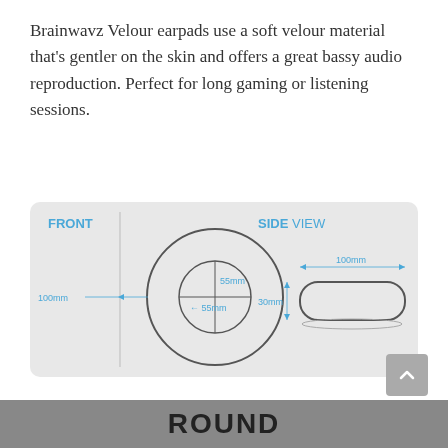Brainwavz Velour earpads use a soft velour material that's gentler on the skin and offers a great bassy audio reproduction. Perfect for long gaming or listening sessions.
[Figure (engineering-diagram): Technical diagram showing FRONT view (circle with crosshair, labeled 55mm inner diameter and 100mm outer diameter) and SIDE VIEW (pill/oval shape labeled 100mm wide and 30mm tall) of Brainwavz Velour earpads.]